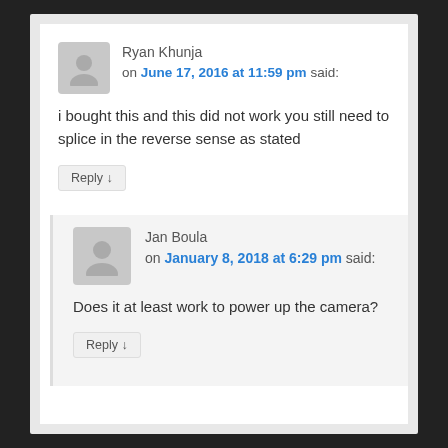Ryan Khunja on June 17, 2016 at 11:59 pm said:
i bought this and this did not work you still need to splice in the reverse sense as stated
Reply
Jan Boula on January 8, 2018 at 6:29 pm said:
Does it at least work to power up the camera?
Reply